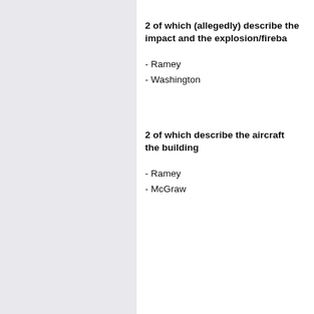2 of which (allegedly) describe the impact and the explosion/fireba
- Ramey
- Washington
2 of which describe the aircraft the building
- Ramey
- McGraw